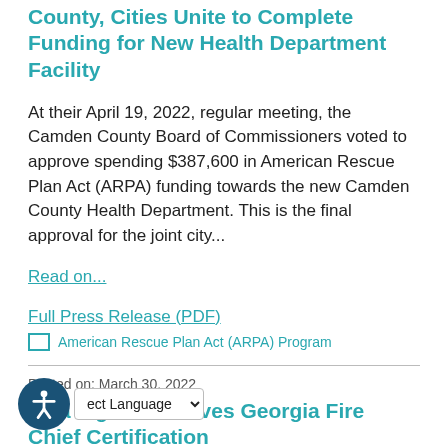County, Cities Unite to Complete Funding for New Health Department Facility
At their April 19, 2022, regular meeting, the Camden County Board of Commissioners voted to approve spending $387,600 in American Rescue Plan Act (ARPA) funding towards the new Camden County Health Department. This is the final approval for the joint city...
Read on...
Full Press Release (PDF)
American Rescue Plan Act (ARPA) Program
Posted on: March 30, 2022
Tina Ingles Achieves Georgia Fire Chief Certification
...unty Board of Commissioners is pleased to announce that Camden County Fire Rescue (CCFR) Battalion Chief Tina Ingles has...